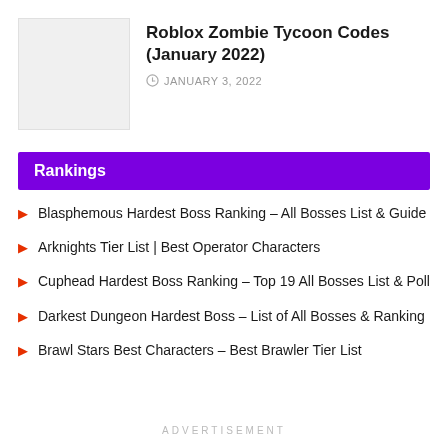[Figure (photo): Thumbnail image placeholder (light gray rectangle)]
Roblox Zombie Tycoon Codes (January 2022)
JANUARY 3, 2022
Rankings
Blasphemous Hardest Boss Ranking – All Bosses List & Guide
Arknights Tier List | Best Operator Characters
Cuphead Hardest Boss Ranking – Top 19 All Bosses List & Poll
Darkest Dungeon Hardest Boss – List of All Bosses & Ranking
Brawl Stars Best Characters – Best Brawler Tier List
ADVERTISEMENT